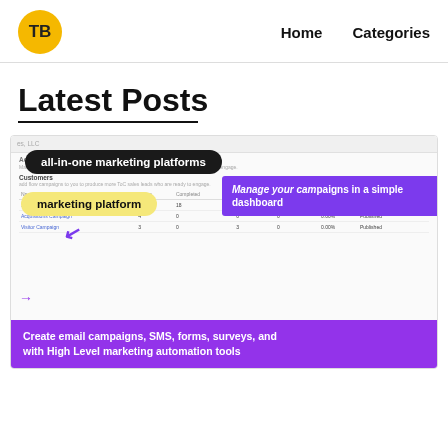TB | Home | Categories
Latest Posts
[Figure (screenshot): Screenshot of a marketing platform dashboard showing campaign table with annotations: 'all-in-one marketing platforms' in black pill, 'marketing platform' in yellow pill, 'Manage campaigns in a simple dashboard' in purple banner, and 'Create email campaigns, SMS, forms, surveys, and with High Level marketing automation tools' in purple banner at bottom.]